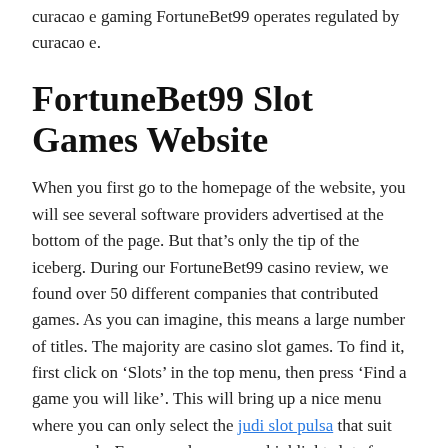curacao e gaming FortuneBet99 operates regulated by curacao e.
FortuneBet99 Slot Games Website
When you first go to the homepage of the website, you will see several software providers advertised at the bottom of the page. But that’s only the tip of the iceberg. During our FortuneBet99 casino review, we found over 50 different companies that contributed games. As you can imagine, this means a large number of titles. The majority are casino slot games. To find it, first click on ‘Slots’ in the top menu, then press ‘Find a game you will like’. This will bring up a nice menu where you can only select the judi slot pulsa that suit your needs. For example, you can highlight slots from Microgaming, BetSoft, play n go, Ganapati, or Tom Horn Gaming.